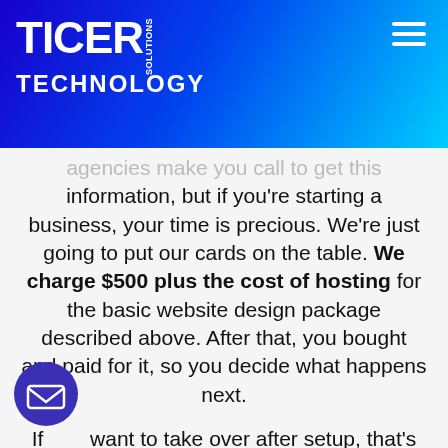TICER TECHNOLOGY SOLUTIONS
agencies make you call to get this information, but if you're starting a business, your time is precious. We're just going to put our cards on the table. We charge $500 plus the cost of hosting for the basic website design package described above. After that, you bought and paid for it, so you decide what happens next.
If you want to take over after setup, that's up to you. For a consulting fee, we'll show you how to update text and photos, add